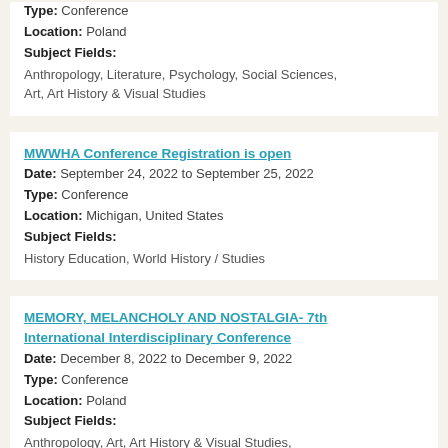Type: Conference
Location: Poland
Subject Fields:
Anthropology, Literature, Psychology, Social Sciences, Art, Art History & Visual Studies
MWWHA Conference Registration is open
Date: September 24, 2022 to September 25, 2022
Type: Conference
Location: Michigan, United States
Subject Fields:
History Education, World History / Studies
MEMORY, MELANCHOLY AND NOSTALGIA- 7th International Interdisciplinary Conference
Date: December 8, 2022 to December 9, 2022
Type: Conference
Location: Poland
Subject Fields:
Anthropology, Art, Art History & Visual Studies, Holocaust, Genocide, and Memory Studies, Humanities, Literature